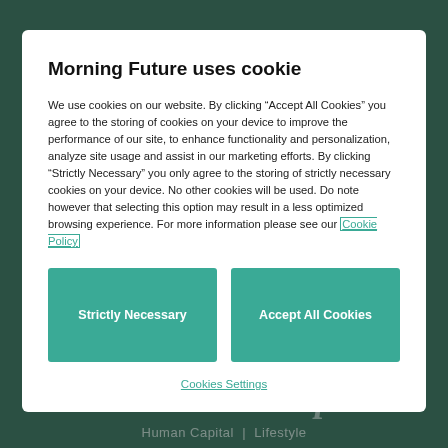[Figure (screenshot): Dark teal/green background webpage with overlay text about psychology from universities to companies]
Morning Future uses cookie
We use cookies on our website. By clicking “Accept All Cookies” you agree to the storing of cookies on your device to improve the performance of our site, to enhance functionality and personalization, analyze site usage and assist in our marketing efforts. By clicking “Strictly Necessary” you only agree to the storing of strictly necessary cookies on your device. No other cookies will be used. Do note however that selecting this option may result in a less optimized browsing experience. For more information please see our Cookie Policy
Strictly Necessary
Accept All Cookies
Cookies Settings
psychology, from universities to companies
Human Capital | Lifestyle